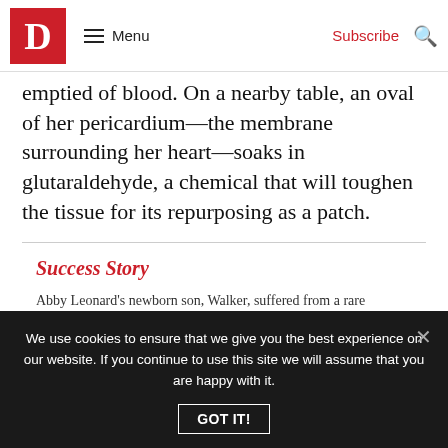D  ≡ Menu  Subscribe  🔍
emptied of blood. On a nearby table, an oval of her pericardium—the membrane surrounding her heart—soaks in glutaraldehyde, a chemical that will toughen the tissue for its repurposing as a patch.
Success Story
Abby Leonard's newborn son, Walker, suffered from a rare congenital heart defect and wouldn't survive long without open-heart surgery. Although duly warned against frantic googling, she needed to understand what was wrong with
We use cookies to ensure that we give you the best experience on our website. If you continue to use this site we will assume that you are happy with it.
GOT IT!